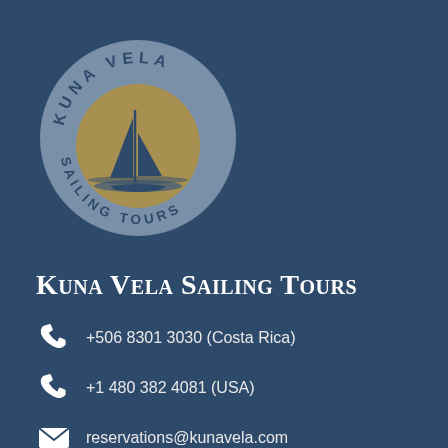[Figure (logo): Kuna Vela Sailing Tours circular logo with a sailboat on a gold/yellow circle background, surrounded by the text KUNA VELA at the top and SAILING TOURS at the bottom, all in dark navy blue on a gray-blue circular badge]
Kuna Vela Sailing Tours
+506 8301 3030 (Costa Rica)
+1 480 382 4081 (USA)
reservations@kunavela.com